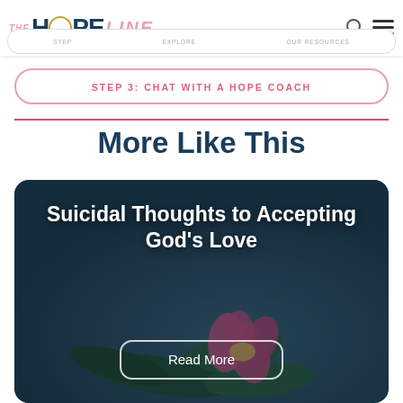[Figure (logo): The HopeLine logo with 'THE' in pink italic, 'HOPE' in dark navy bold with a gold circle O, and 'LINE' in pink italic]
STEP EXPLORE OUR RESOURCES
STEP 3: CHAT WITH A HOPE COACH
More Like This
[Figure (photo): Card with dark teal/blue background showing a pink lotus flower with green leaves, overlaid with white bold text 'Suicidal Thoughts to Accepting God's Love' and a 'Read More' button with rounded rectangle border]